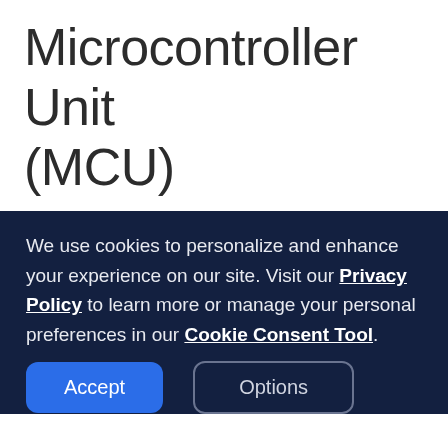Microcontroller Unit (MCU)
We use cookies to personalize and enhance your experience on our site. Visit our Privacy Policy to learn more or manage your personal preferences in our Cookie Consent Tool.
Accept
Options